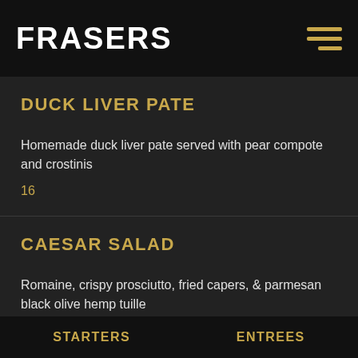FRASERS
DUCK LIVER PATE
Homemade duck liver pate served with pear compote and crostinis
16
CAESAR SALAD
Romaine, crispy prosciutto, fried capers, & parmesan black olive hemp tuille
STARTERS    ENTREES